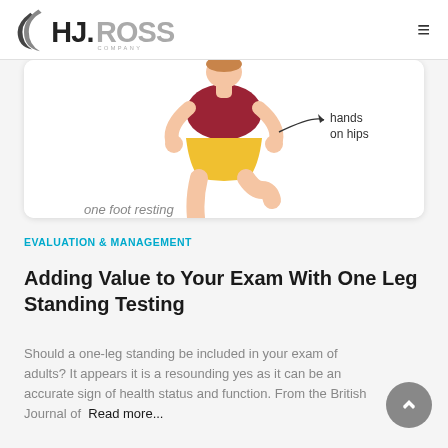HJ.ROSS COMPANY
[Figure (illustration): Illustration of a person standing on one leg with hands on hips, with a curved arrow and label reading 'hands on hips'. Text 'one foot resting' is partially visible at the bottom.]
EVALUATION & MANAGEMENT
Adding Value to Your Exam With One Leg Standing Testing
Should a one-leg standing be included in your exam of adults? It appears it is a resounding yes as it can be an accurate sign of health status and function. From the British Journal of Read more...